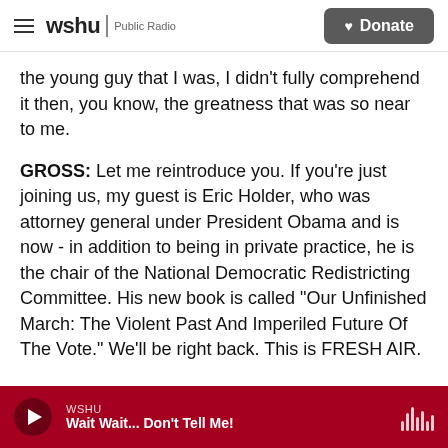wshu | Public Radio  [Donate]
the young guy that I was, I didn't fully comprehend it then, you know, the greatness that was so near to me.
GROSS: Let me reintroduce you. If you're just joining us, my guest is Eric Holder, who was attorney general under President Obama and is now - in addition to being in private practice, he is the chair of the National Democratic Redistricting Committee. His new book is called "Our Unfinished March: The Violent Past And Imperiled Future Of The Vote." We'll be right back. This is FRESH AIR.
WSHU  Wait Wait... Don't Tell Me!